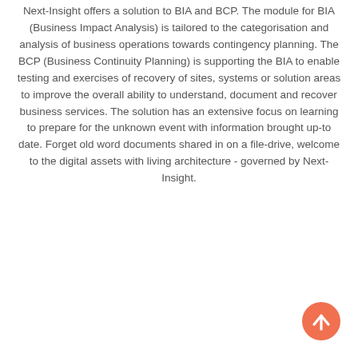Next-Insight offers a solution to BIA and BCP. The module for BIA (Business Impact Analysis) is tailored to the categorisation and analysis of business operations towards contingency planning. The BCP (Business Continuity Planning) is supporting the BIA to enable testing and exercises of recovery of sites, systems or solution areas to improve the overall ability to understand, document and recover business services. The solution has an extensive focus on learning to prepare for the unknown event with information brought up-to date. Forget old word documents shared in on a file-drive, welcome to the digital assets with living architecture - governed by Next-Insight.
[Figure (other): Orange circular scroll-to-top button with upward arrow icon in bottom-right corner]